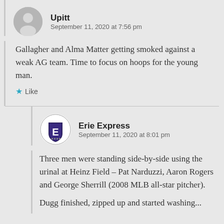[Figure (illustration): Generic user avatar - grey silhouette of a person on light grey circle background]
Upitt
September 11, 2020 at 7:56 pm
Gallagher and Alma Matter getting smoked against a weak AG team. Time to focus on hoops for the young man.
★ Like
[Figure (logo): Erie Express logo - shield/badge shape with letter E, dark blue/purple color, round border]
Erie Express
September 11, 2020 at 8:01 pm
Three men were standing side-by-side using the urinal at Heinz Field – Pat Narduzzi, Aaron Rogers and George Sherrill (2008 MLB all-star pitcher).
Dugg finished, zipped up and started washing...